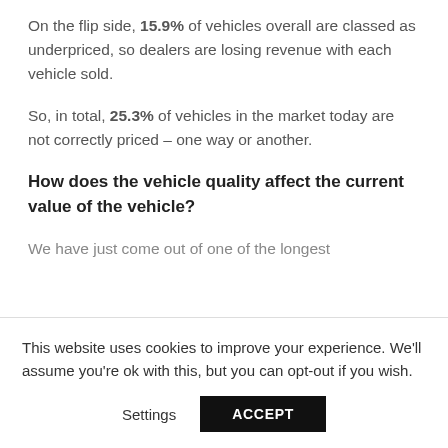On the flip side, 15.9% of vehicles overall are classed as underpriced, so dealers are losing revenue with each vehicle sold.
So, in total, 25.3% of vehicles in the market today are not correctly priced – one way or another.
How does the vehicle quality affect the current value of the vehicle?
We have just come out of one of the longest
This website uses cookies to improve your experience. We'll assume you're ok with this, but you can opt-out if you wish.
Settings
ACCEPT